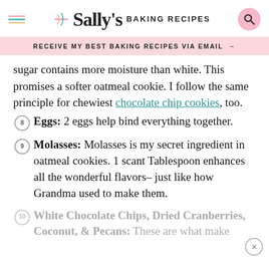Sally's Baking Recipes
RECEIVE MY BEST BAKING RECIPES VIA EMAIL →
sugar contains more moisture than white. This promises a softer oatmeal cookie. I follow the same principle for chewiest chocolate chip cookies, too.
Eggs: 2 eggs help bind everything together.
Molasses: Molasses is my secret ingredient in oatmeal cookies. 1 scant Tablespoon enhances all the wonderful flavors– just like how Grandma used to make them.
White Chocolate Chips, Dried Cranberries, Coconut, & Pecans: These are what make